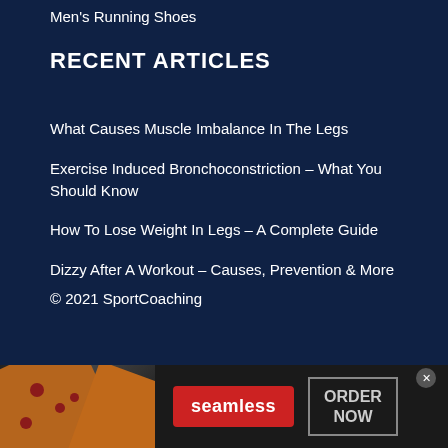Men's Running Shoes
RECENT ARTICLES
What Causes Muscle Imbalance In The Legs
Exercise Induced Bronchoconstriction – What You Should Know
How To Lose Weight In Legs – A Complete Guide
Dizzy After A Workout – Causes, Prevention & More
© 2021 SportCoaching
[Figure (screenshot): Seamless food delivery advertisement banner with pizza image, red Seamless button, and ORDER NOW button with close X icon]